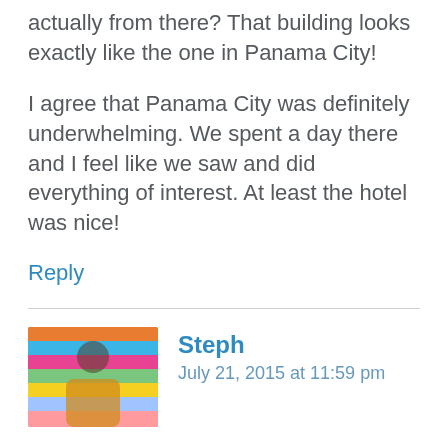actually from there? That building looks exactly like the one in Panama City!
I agree that Panama City was definitely underwhelming. We spent a day there and I feel like we saw and did everything of interest. At least the hotel was nice!
Reply
Steph
July 21, 2015 at 11:59 pm